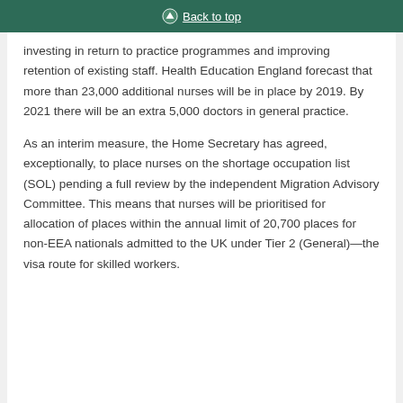Back to top
investing in return to practice programmes and improving retention of existing staff. Health Education England forecast that more than 23,000 additional nurses will be in place by 2019. By 2021 there will be an extra 5,000 doctors in general practice.
As an interim measure, the Home Secretary has agreed, exceptionally, to place nurses on the shortage occupation list (SOL) pending a full review by the independent Migration Advisory Committee. This means that nurses will be prioritised for allocation of places within the annual limit of 20,700 places for non-EEA nationals admitted to the UK under Tier 2 (General)—the visa route for skilled workers.